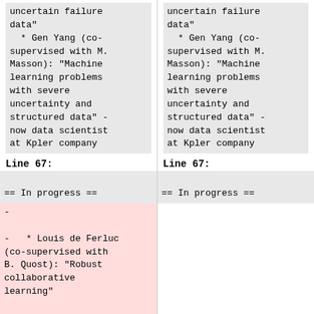uncertain failure data"
    * Gen Yang (co-supervised with M. Masson): "Machine learning problems with severe uncertainty and structured data" - now data scientist at Kpler company
uncertain failure data"
    * Gen Yang (co-supervised with M. Masson): "Machine learning problems with severe uncertainty and structured data" - now data scientist at Kpler company
Line 67:
Line 67:
== In progress ==
-
-   * Louis de Ferluc (co-supervised with B. Quost): "Robust collaborative learning"
== In progress ==